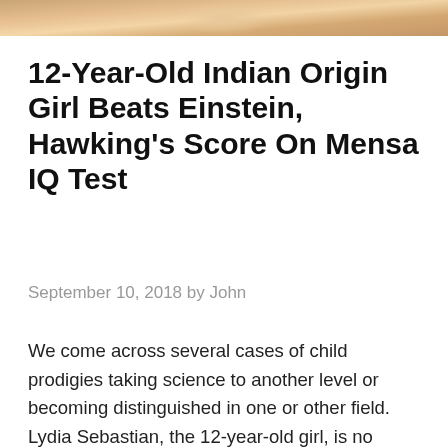[Figure (photo): Top portion of a photo showing a young girl, cropped — only the top edge visible at the top of the page.]
12-Year-Old Indian Origin Girl Beats Einstein, Hawking's Score On Mensa IQ Test
September 10, 2018 by John
We come across several cases of child prodigies taking science to another level or becoming distinguished in one or other field. Lydia Sebastian, the 12-year-old girl, is no exception. She has outwitted geniuses Albert Einstein and Stephen Hawking to gain a perfect score in a